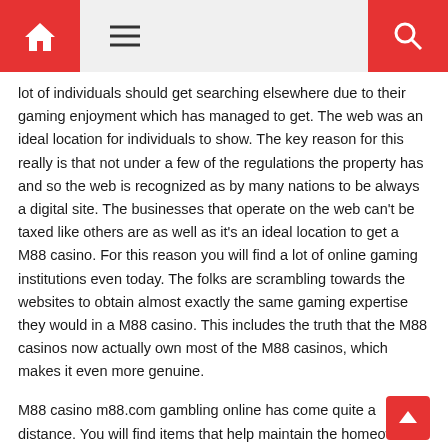Navigation header with home, menu, and search icons
lot of individuals should get searching elsewhere due to their gaming enjoyment which has managed to get. The web was an ideal location for individuals to show. The key reason for this really is that not under a few of the regulations the property has and so the web is recognized as by many nations to be always a digital site. The businesses that operate on the web can't be taxed like others are as well as it's an ideal location to get a M88 casino. For this reason you will find a lot of online gaming institutions even today. The folks are scrambling towards the websites to obtain almost exactly the same gaming expertise they would in a M88 casino. This includes the truth that the M88 casinos now actually own most of the M88 casinos, which makes it even more genuine.
M88 casino m88.com gambling online has come quite a distance. You will find items that help maintain the homeowners as truthful as you can although you will find no regulations that control the fees for an internet M88 casino. To begin with, the internet M88 casinos have to have